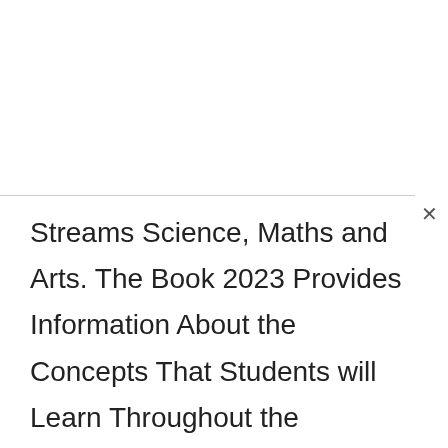Streams Science, Maths and Arts. The Book 2023 Provides Information About the Concepts That Students will Learn Throughout the Academic Year. Class 11th Book 2023 is Prepared by Highly Skilled Subject Experts. The Book 2023 is Structured in a Step by Step Manner Keeping the Easier Twos at the Top and Difficult Twos at The Bottom. Tripura Board Class 11th Book 2023 of Maths, Physics, Chemistry And Biology Conveys It's